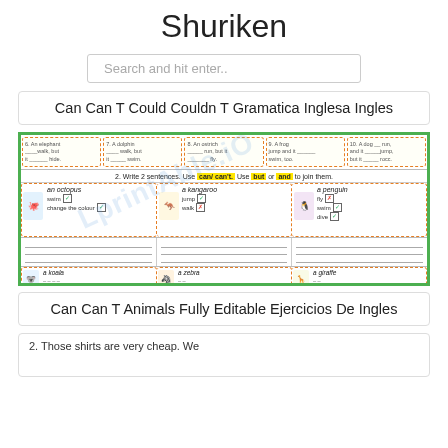Shuriken
Search and hit enter..
Can Can T Could Couldn T Gramatica Inglesa Ingles
[Figure (illustration): Worksheet showing animal vocabulary exercise with 'can/can't' grammar. Shows animals (octopus, kangaroo, penguin, koala, zebra, giraffe) with checkboxes for abilities (swim, fly, walk, jump, etc.). Includes instruction: Write 2 sentences. Use can/can't. Use but or and to join them. Has writing lines for student answers.]
Can Can T Animals Fully Editable Ejercicios De Ingles
2. Those shirts are very cheap. We